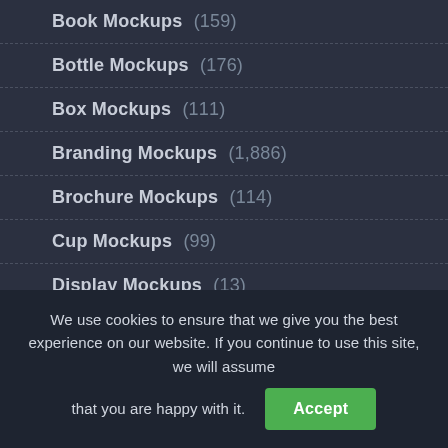Book Mockups (159)
Bottle Mockups (176)
Box Mockups (111)
Branding Mockups (1,886)
Brochure Mockups (114)
Cup Mockups (99)
Display Mockups (13)
Flags Mockups (9)
We use cookies to ensure that we give you the best experience on our website. If you continue to use this site, we will assume that you are happy with it.
Accept